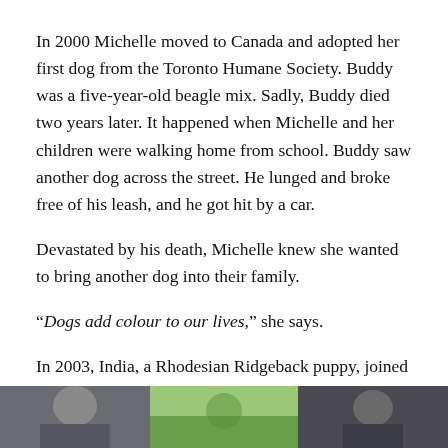In 2000 Michelle moved to Canada and adopted her first dog from the Toronto Humane Society. Buddy was a five-year-old beagle mix. Sadly, Buddy died two years later. It happened when Michelle and her children were walking home from school. Buddy saw another dog across the street. He lunged and broke free of his leash, and he got hit by a car.
Devastated by his death, Michelle knew she wanted to bring another dog into their family.
“Dogs add colour to our lives,” she says.
In 2003, India, a Rhodesian Ridgeback puppy, joined Michelle’s family, and then seven years later, they adopted Hannah, a shepherd mix rescued from Aruba.
[Figure (photo): Partial bottom strip showing three photos side by side, partially cropped at bottom of page]